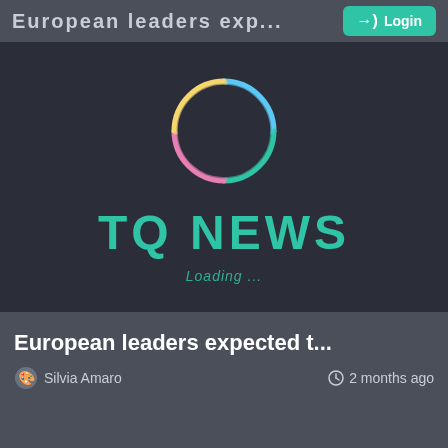European leaders exp... →) Login
[Figure (screenshot): TQ News app loading screen on dark background with colorful circular logo and 'TQ NEWS' text, showing 'Loading ...' below]
European leaders expected t...
Silvia Amaro   2 months ago